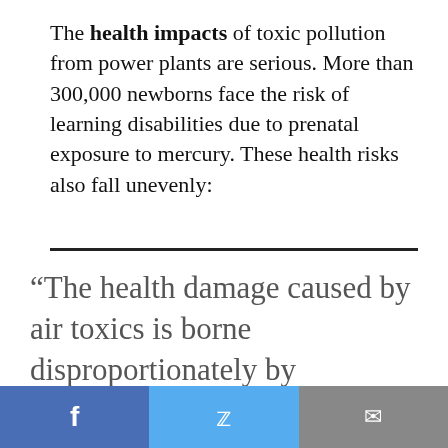The health impacts of toxic pollution from power plants are serious. More than 300,000 newborns face the risk of learning disabilities due to prenatal exposure to mercury. These health risks also fall unevenly:
“The health damage caused by air toxics is borne disproportionately by communities of color and the poor. More than of the